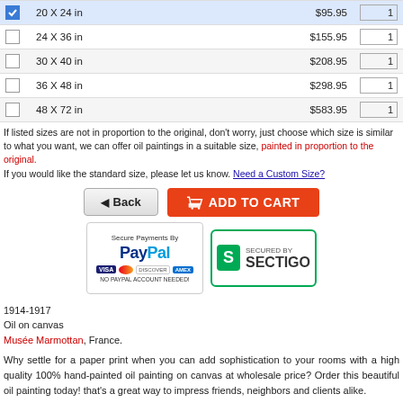|  | Size | Price | Qty |
| --- | --- | --- | --- |
| ☑ | 20 X 24 in | $95.95 | 1 |
| ☐ | 24 X 36 in | $155.95 | 1 |
| ☐ | 30 X 40 in | $208.95 | 1 |
| ☐ | 36 X 48 in | $298.95 | 1 |
| ☐ | 48 X 72 in | $583.95 | 1 |
If listed sizes are not in proportion to the original, don't worry, just choose which size is similar to what you want, we can offer oil paintings in a suitable size, painted in proportion to the original. If you would like the standard size, please let us know. Need a Custom Size?
[Figure (screenshot): Back button and Add to Cart orange button]
[Figure (logo): PayPal secure payments badge with Visa, Mastercard, Discover, Amex logos and Sectigo secured badge]
1914-1917
Oil on canvas
Musée Marmottan, France.
Why settle for a paper print when you can add sophistication to your rooms with a high quality 100% hand-painted oil painting on canvas at wholesale price? Order this beautiful oil painting today! that's a great way to impress friends, neighbors and clients alike.